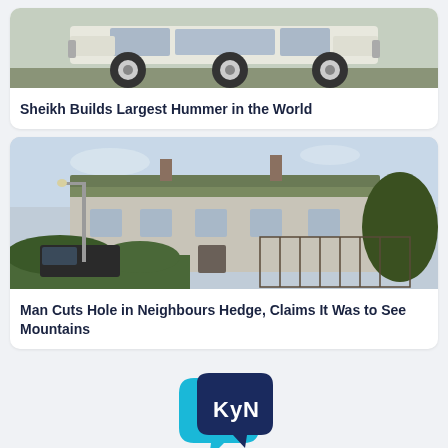[Figure (photo): Large white Hummer vehicle with oversized wheels, viewed from the side]
Sheikh Builds Largest Hummer in the World
[Figure (photo): Row of terraced houses with mossy roofs, a black van parked outside, trees and a fence visible]
Man Cuts Hole in Neighbours Hedge, Claims It Was to See Mountains
[Figure (logo): KyN logo — two overlapping speech bubble shapes in dark blue and cyan with white text KyN]